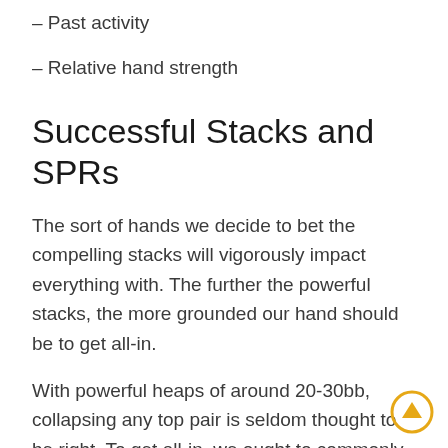– Past activity
– Relative hand strength
Successful Stacks and SPRs
The sort of hands we decide to bet the compelling stacks will vigorously impact everything with. The further the powerful stacks, the more grounded our hand should be to get all-in.
With powerful heaps of around 20-30bb, collapsing any top pair is seldom thought to be right. To get all-in, we ought to commonly go with our hand. Comparable guidelines can be applied to different possessions. At stack profundities of around 40-